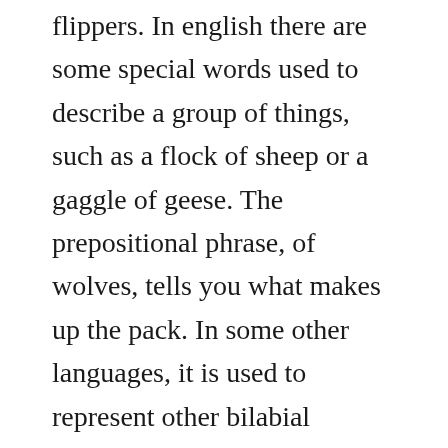flippers. In english there are some special words used to describe a group of things, such as a flock of sheep or a gaggle of geese. The prepositional phrase, of wolves, tells you what makes up the pack. In some other languages, it is used to represent other bilabial consonants. Check out these examples using dule as a collective noun. Using noun clauses 3 a noun clause can function as. Collective nouns 31,371 plays grade 3 880 collective nouns.
People do not live their lives in individual